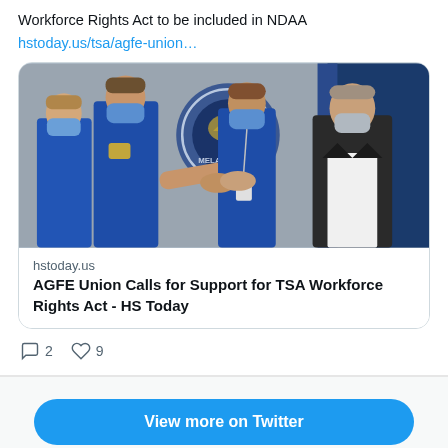Workforce Rights Act to be included in NDAA
hstoday.us/tsa/agfe-union…
[Figure (photo): Four TSA officers in blue uniforms wearing blue surgical masks shaking hands with a man in a dark suit in front of a DHS seal. A blue/navy flag is visible in the background.]
hstoday.us
AGFE Union Calls for Support for TSA Workforce Rights Act - HS Today
2 replies, 9 likes
View more on Twitter
Learn more about privacy on Twitter